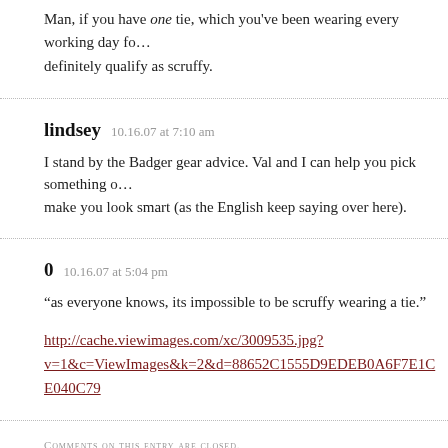Man, if you have one tie, which you've been wearing every working day fo… definitely qualify as scruffy.
lindsey   10.16.07 at 7:10 am
I stand by the Badger gear advice. Val and I can help you pick something o… make you look smart (as the English keep saying over here).
0   10.16.07 at 5:04 pm
“as everyone knows, its impossible to be scruffy wearing a tie.”
http://cache.viewimages.com/xc/3009535.jpg?v=1&c=ViewImages&k=2&d=88652C1555D9EDEB0A6F7E1CE040C79
Comments on this entry are closed.